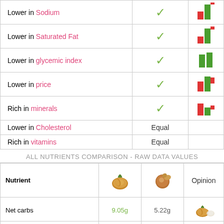|  |  |  |
| --- | --- | --- |
| Lower in Sodium | ✓ | [bar chart] |
| Lower in Saturated Fat | ✓ | [bar chart] |
| Lower in glycemic index | ✓ | [bar chart] |
| Lower in price | ✓ | [bar chart] |
| Rich in minerals | ✓ | [bar chart] |
| Lower in Cholesterol | Equal |  |
| Rich in vitamins | Equal |  |
ALL NUTRIENTS COMPARISON - RAW DATA VALUES
| Nutrient | [almond image] | [hazelnut image] | Opinion |
| --- | --- | --- | --- |
| Net carbs | 9.05g | 5.22g | [almond image] |